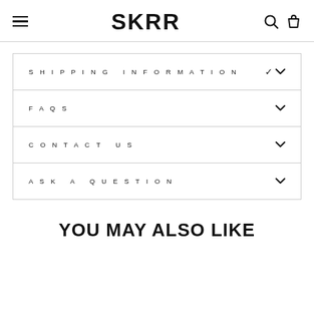SKRR
SHIPPING INFORMATION
FAQS
CONTACT US
ASK A QUESTION
YOU MAY ALSO LIKE